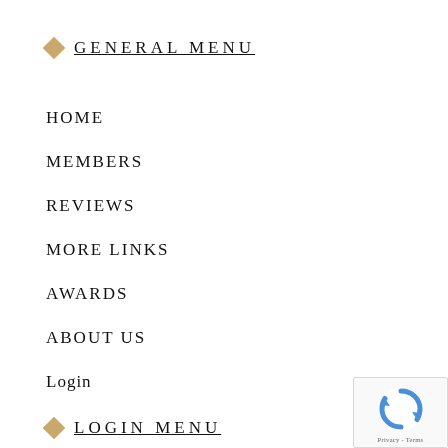GENERAL MENU
HOME
MEMBERS
REVIEWS
MORE LINKS
AWARDS
ABOUT US
Login
LOGIN MENU
[Figure (logo): Google reCAPTCHA badge with rotating arrows logo and 'Privacy - Terms' text]